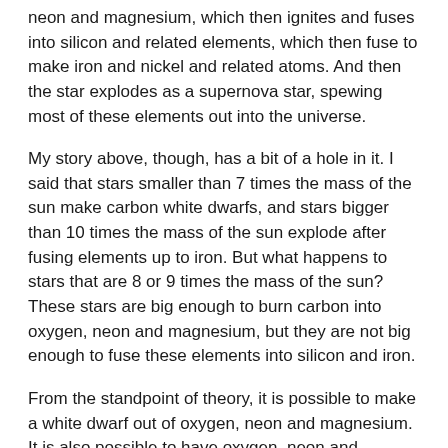neon and magnesium, which then ignites and fuses into silicon and related elements, which then fuse to make iron and nickel and related atoms. And then the star explodes as a supernova star, spewing most of these elements out into the universe.
My story above, though, has a bit of a hole in it. I said that stars smaller than 7 times the mass of the sun make carbon white dwarfs, and stars bigger than 10 times the mass of the sun explode after fusing elements up to iron. But what happens to stars that are 8 or 9 times the mass of the sun? These stars are big enough to burn carbon into oxygen, neon and magnesium, but they are not big enough to fuse these elements into silicon and iron.
From the standpoint of theory, it is possible to make a white dwarf out of oxygen, neon and magnesium. It is also possible to have oxygen, neon and magnesium explode in a special kind of supernova explosion. But we don't know which of these scenarios happen.
Our meeting in London was therefore to discuss these stars. We talked about what we know about these stars between 7...